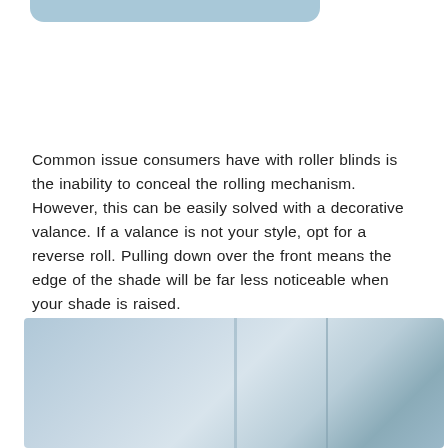[Figure (other): Partial blue-gray rounded banner/button at top of page, cropped]
Common issue consumers have with roller blinds is the inability to conceal the rolling mechanism. However, this can be easily solved with a decorative valance. If a valance is not your style, opt for a reverse roll. Pulling down over the front means the edge of the shade will be far less noticeable when your shade is raised.
[Figure (photo): Photo of roller blinds/window shades in muted blue-gray tones, showing the shade panels installed in a window setting]